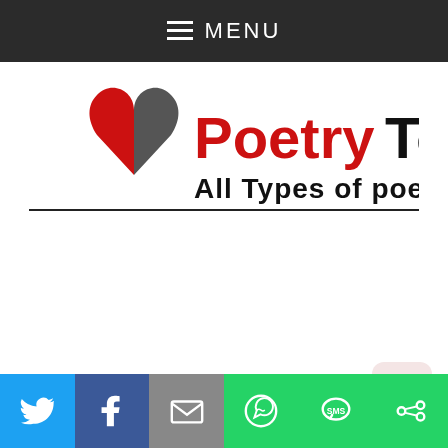MENU
[Figure (logo): Poetry Top logo with a half red and half dark grey heart shape on the left, red bold text 'Poetry ' and black bold text 'Top', subtitle 'All Types of poetry' in black, horizontal underline below.]
[Figure (other): Scroll-to-top button (upward arrow in a rounded square, pinkish/light red color)]
[Figure (infographic): Social sharing bar with six icon buttons: Twitter (blue), Facebook (dark blue), Email (grey), WhatsApp (green), SMS (green), Share/More (green)]